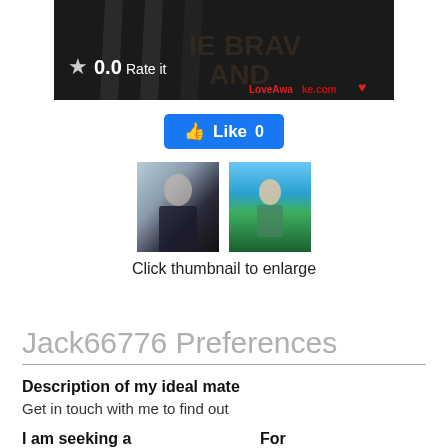[Figure (photo): Top portion of a dark-colored jersey/clothing photo with partial text visible, showing a rating bar with star icon, 0.0 rating, 'Rate it' text, and LoveAwake.com watermark]
[Figure (other): Blue Facebook-style Like button showing thumbs up icon, 'Like' label, and count of 0]
[Figure (photo): Two thumbnail photos side by side: left shows a young man in dark clothing indoors, right shows a shirtless man outdoors with green hills and blue sky background]
Click thumbnail to enlarge
Jack66776 Preferences
Description of my ideal mate
Get in touch with me to find out
I am seeking a
For